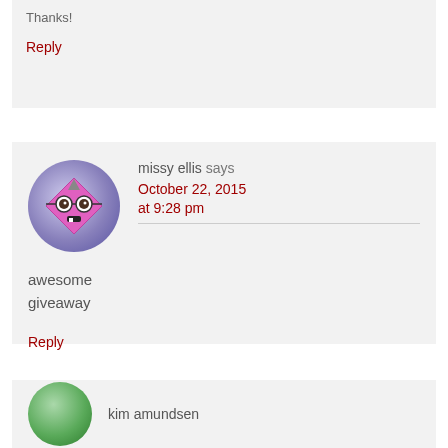Thanks!
Reply
[Figure (illustration): Cartoon avatar of a pink diamond shape with glasses and a grin, on a purple-blue circular background]
missy ellis says
October 22, 2015 at 9:28 pm
awesome giveaway
Reply
[Figure (illustration): Green circular avatar partially visible at bottom]
kim amundsen